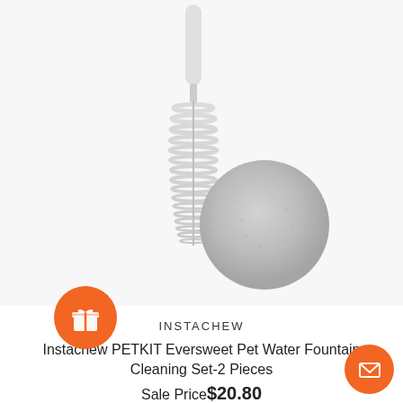[Figure (photo): Product photo showing a thin spiral cleaning brush with white handle and a round gray sponge/konjac ball on a light gray background]
INSTACHEW
Instachew PETKIT Eversweet Pet Water Fountain Cleaning Set-2 Pieces
Sale Price$20.80